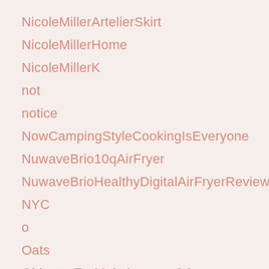NicoleMillerArtelierSkirt
NicoleMillerHome
NicoleMillerK
not
notice
NowCampingStyleCookingIsEveryone
NuwaveBrio10qAirFryer
NuwaveBrioHealthyDigitalAirFryerReviews
NYC
o
Oats
ObjectssForMakehumann3d
Office
OfficeProducts